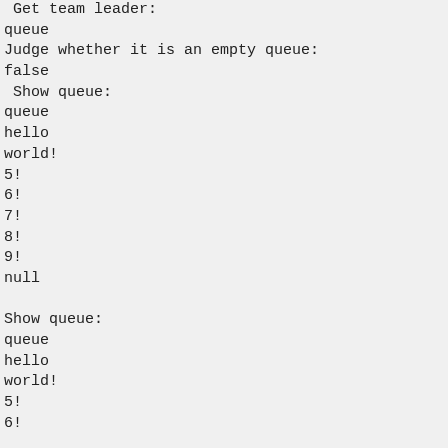8
 Get team leader:
queue
Judge whether it is an empty queue:
false
 Show queue:
queue
hello
world!
5!
6!
7!
8!
9!
null

Show queue:
queue
hello
world!
5!
6!